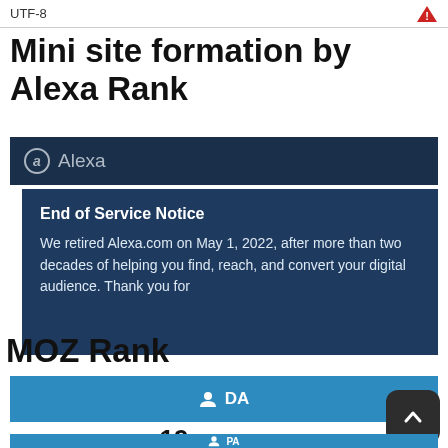UTF-8
Mini site formation by Alexa Rank
[Figure (screenshot): Alexa dark navy header bar with Alexa logo (circled 'a') and text 'Alexa']
[Figure (screenshot): Alexa End of Service Notice box: 'End of Service Notice' bold title, then 'We retired Alexa.com on May 1, 2022, after more than two decades of helping you find, reach, and convert your digital audience. Thank you for...']
MOZ Rank
[Figure (screenshot): Blue DA bar with person icon and text 'DA']
19
[Figure (screenshot): Blue PA bar with person icon and text 'PA']